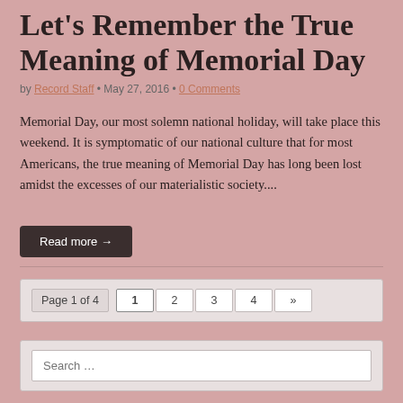Let's Remember the True Meaning of Memorial Day
by Record Staff • May 27, 2016 • 0 Comments
Memorial Day, our most solemn national holiday, will take place this weekend. It is symptomatic of our national culture that for most Americans, the true meaning of Memorial Day has long been lost amidst the excesses of our materialistic society....
Read more →
Page 1 of 4  1  2  3  4  »
Search …